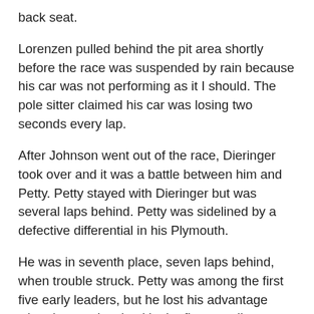back seat.
Lorenzen pulled behind the pit area shortly before the race was suspended by rain because his car was not performing as it I should. The pole sitter claimed his car was losing two seconds every lap.
After Johnson went out of the race, Dieringer took over and it was a battle between him and Petty. Petty stayed with Dieringer but was several laps behind. Petty was sidelined by a defective differential in his Plymouth.
He was in seventh place, seven laps behind, when trouble struck. Petty was among the first five early leaders, but he lost his advantage when he was involved in the five-car pileup.
General Motors made a fine showing in yesterday's event.
Of the top 19, three Chevrolets placed, one fourth, one sixth and one eighth. The other seven were Fords. Sam McQuagg of Columbus, Ga., finished third in his 1965 Ford.